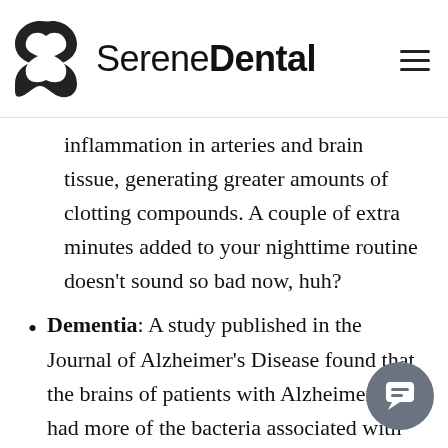Serene Dental
inflammation in arteries and brain tissue, generating greater amounts of clotting compounds. A couple of extra minutes added to your nighttime routine doesn't sound so bad now, huh?
Dementia: A study published in the Journal of Alzheimer's Disease found that the brains of patients with Alzheimer's had more of the bacteria associated with gum disease than did those belonging to their cognitively healthy peers. It's thought that the bacteria associated with poor dental